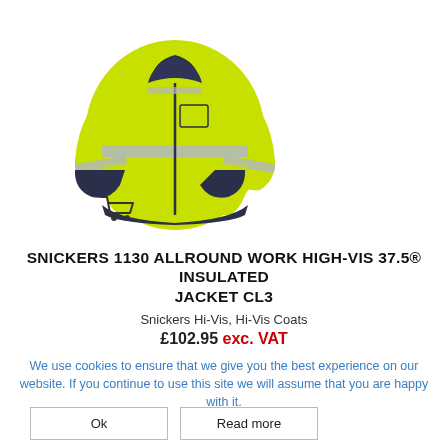[Figure (photo): High-visibility yellow and navy insulated work jacket (Snickers 1130) shown on a mannequin, 3/4 view with reflective strips, with a shopping cart icon below-left of the image]
SNICKERS 1130 ALLROUND WORK HIGH-VIS 37.5® INSULATED JACKET CL3
Snickers Hi-Vis, Hi-Vis Coats
£102.95 exc. VAT
We use cookies to ensure that we give you the best experience on our website. If you continue to use this site we will assume that you are happy with it.
Ok
Read more